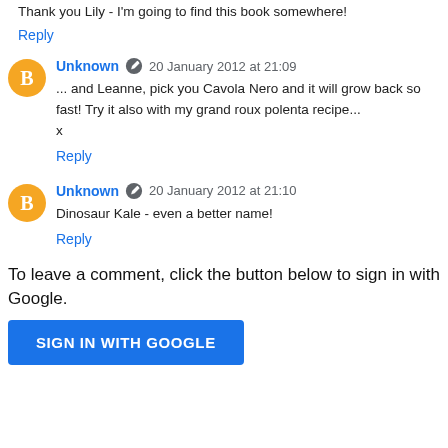Thank you Lily - I'm going to find this book somewhere!
Reply
Unknown · 20 January 2012 at 21:09
... and Leanne, pick you Cavola Nero and it will grow back so fast! Try it also with my grand roux polenta recipe... x
Reply
Unknown · 20 January 2012 at 21:10
Dinosaur Kale - even a better name!
Reply
To leave a comment, click the button below to sign in with Google.
SIGN IN WITH GOOGLE